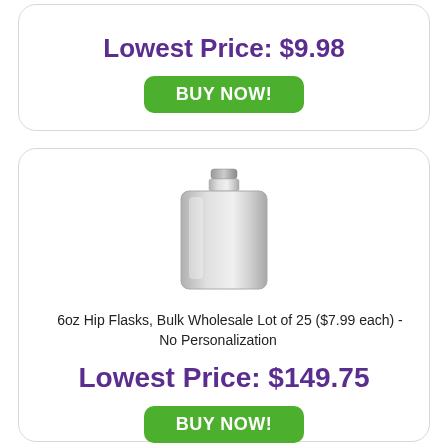Lowest Price: $9.98
BUY NOW!
[Figure (photo): Stainless steel hip flask, silver/chrome finish, rectangular shape with screw cap]
6oz Hip Flasks, Bulk Wholesale Lot of 25 ($7.99 each) - No Personalization
Lowest Price: $149.75
BUY NOW!